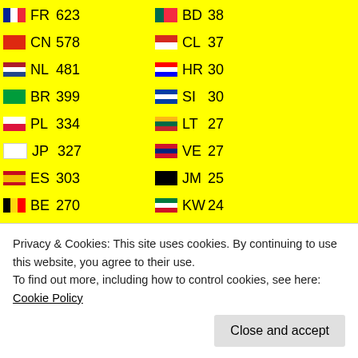| Flag | CC | Count | Flag | CC | Count |
| --- | --- | --- | --- | --- | --- |
|  | FR | 623 |  | BD | 38 |
|  | CN | 578 |  | CL | 37 |
|  | NL | 481 |  | HR | 30 |
|  | BR | 399 |  | SI | 30 |
|  | PL | 334 |  | LT | 27 |
|  | JP | 327 |  | VE | 27 |
|  | ES | 303 |  | JM | 25 |
|  | BE | 270 |  | KW | 24 |
|  | RU | 259 |  | LV | 24 |
|  | SE | 251 |  | QA | 24 |
|  | ZA | 239 |  | EG | 23 |
|  | MX | 239 |  | KE | 19 |
|  | IE | 197 |  | MA | 17 |
|  | ID | 197 |  | TT | 15 |
|  | TR | 193 |  | GY | 15 |
|  | DK | 187 |  | EC | 13 |
|  | PH | 185 |  | NP | 12 |
|  | RO | 170 |  | NG | 12 |
|  | SG | 163 |  | DZ | 12 |
|  | FI | 147 |  | KH | 12 |
|  | AR | 145 |  | IS | 12 |
|  | KR | 142 |  | VG | 12 |
Privacy & Cookies: This site uses cookies. By continuing to use this website, you agree to their use.
To find out more, including how to control cookies, see here: Cookie Policy